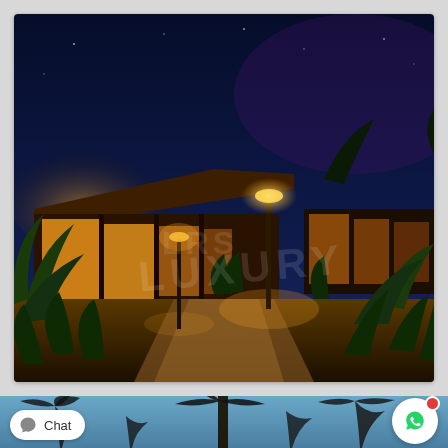[Figure (photo): Night-time exterior photo of a luxury resort or villa. A lit building with large glass windows glows warmly on the left, surrounded by tropical plants and palm trees. A stone pathway leads toward the entrance, flanked by ornamental grasses and garden lights. The sky is a deep dark blue. A watermark reading 'LUXURY' is faintly visible in the center of the image.]
[Figure (screenshot): Partial screenshot showing the bottom of a webpage with a night-time photo of palm trees against a blue sky. A white 'Chat' button with a speech bubble icon is visible at the bottom left. A circular WhatsApp button with a green phone icon and a red notification dot is visible at the bottom right.]